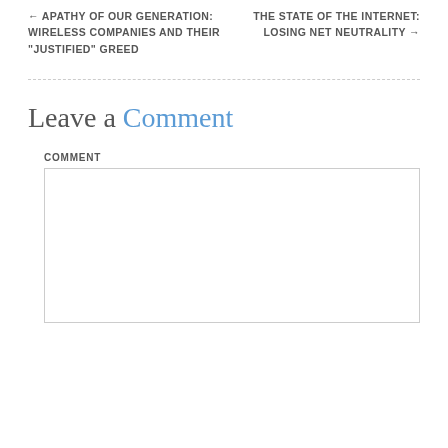← APATHY OF OUR GENERATION: WIRELESS COMPANIES AND THEIR "JUSTIFIED" GREED
THE STATE OF THE INTERNET: LOSING NET NEUTRALITY →
Leave a Comment
COMMENT